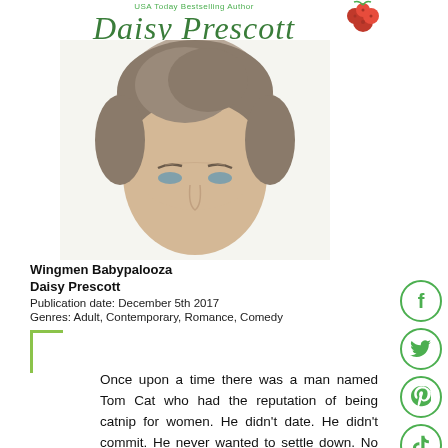USA Today Bestselling Author Daisy Prescott
[Figure (photo): Portrait photo of a man looking upward, showing his face and the top of his head with styled hair]
Wingmen Babypalooza
Daisy Prescott
Publication date: December 5th 2017
Genres: Adult, Contemporary, Romance, Comedy
Once upon a time there was a man named Tom Cat who had the reputation of being catnip for women. He didn't date. He didn't commit. He never wanted to settle down. No way. Then one day all that changed. Now the Tom Cat's been domesticated.